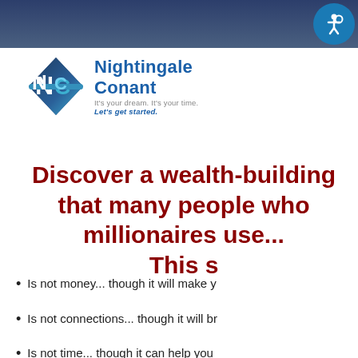[Figure (logo): Nightingale Conant logo with diamond NC icon and tagline 'It's your dream. It's your time. Let's get started.']
Discover a wealth-building secret that many people who become millionaires use... This s
Is not money... though it will make y
Is not connections... though it will br
Is not time... though it can help you
Is not a degree... in fact, degrees co